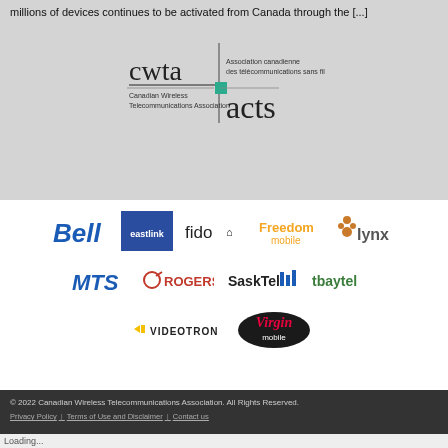millions of devices continues to be activated from Canada through the [...]
[Figure (logo): CWTA / acts logo — Canadian Wireless Telecommunications Association and Association canadienne des télécommunications sans fil]
[Figure (logo): Bell logo]
[Figure (logo): Eastlink logo]
[Figure (logo): fido logo]
[Figure (logo): Freedom mobile logo]
[Figure (logo): Lynx mobile logo]
[Figure (logo): MTS logo]
[Figure (logo): ROGERS logo]
[Figure (logo): SaskTel logo]
[Figure (logo): tbaytel logo]
[Figure (logo): VIDEOTRON logo]
[Figure (logo): Virgin mobile logo]
© 2022 Canadian Wireless Telecommunications Association. All Rights Reserved.
Privacy Policy | Terms of Use and Disclaimer | Contact us
Loading...